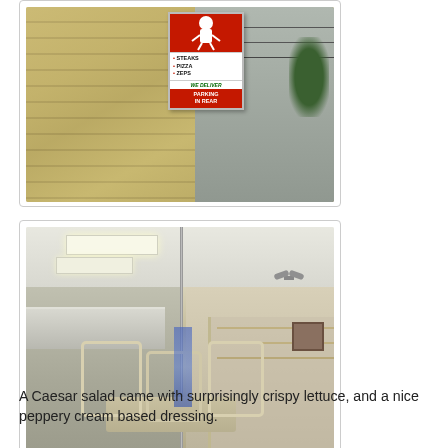[Figure (photo): Exterior photo of a restaurant building showing a vertical sign reading: STEAKS, PIZZA, ZEPS, WE DELIVER, PARKING IN REAR]
[Figure (photo): Interior photo of a diner/restaurant showing white chairs, tables, kitchen area with stainless equipment, and shelving on the right side]
A Caesar salad came with surprisingly crispy lettuce, and a nice peppery cream based dressing.